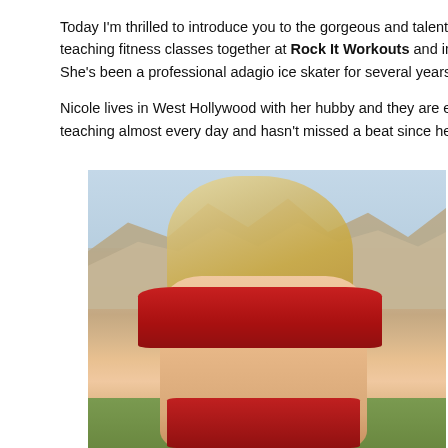Today I'm thrilled to introduce you to the gorgeous and talented Nico... teaching fitness classes together at Rock It Workouts and immedia... She's been a professional adagio ice skater for several years and e...
Nicole lives in West Hollywood with her hubby and they are expectin... teaching almost every day and hasn't missed a beat since her pregn...
[Figure (photo): A blonde woman in a red sports bra top posing outdoors with Hollywood Hills in the background]